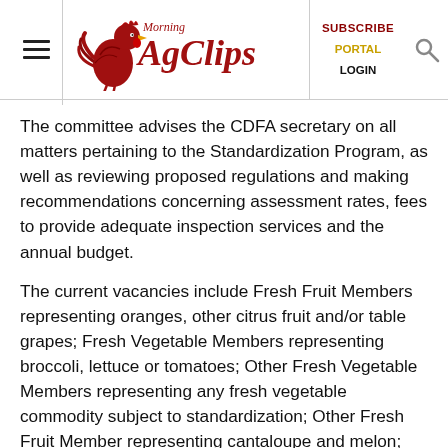Morning AgClips — SUBSCRIBE PORTAL LOGIN
The committee advises the CDFA secretary on all matters pertaining to the Standardization Program, as well as reviewing proposed regulations and making recommendations concerning assessment rates, fees to provide adequate inspection services and the annual budget.
The current vacancies include Fresh Fruit Members representing oranges, other citrus fruit and/or table grapes; Fresh Vegetable Members representing broccoli, lettuce or tomatoes; Other Fresh Vegetable Members representing any fresh vegetable commodity subject to standardization; Other Fresh Fruit Member representing cantaloupe and melon; and Other Commodity Member representing a commodity subject to the Standardization Program.